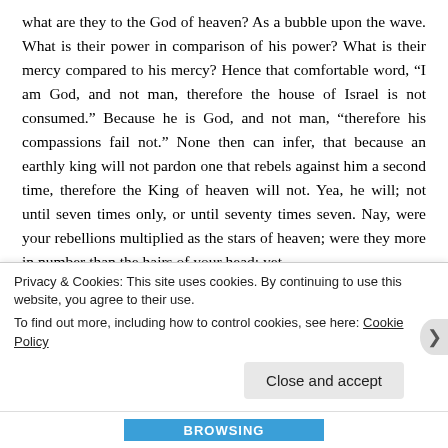what are they to the God of heaven? As a bubble upon the wave. What is their power in comparison of his power? What is their mercy compared to his mercy? Hence that comfortable word, “I am God, and not man, therefore the house of Israel is not consumed.” Because he is God, and not man, “therefore his compassions fail not.” None then can infer, that because an earthly king will not pardon one that rebels against him a second time, therefore the King of heaven will not. Yea, he will; not until seven times only, or until seventy times seven. Nay, were your rebellions multiplied as the stars of heaven; were they more in number than the hairs of your head; yet
Privacy & Cookies: This site uses cookies. By continuing to use this website, you agree to their use.
To find out more, including how to control cookies, see here: Cookie Policy
Close and accept